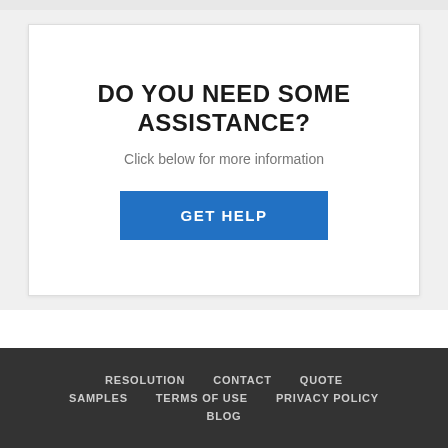DO YOU NEED SOME ASSISTANCE?
Click below for more information
GET HELP
RESOLUTION  CONTACT  QUOTE  SAMPLES  TERMS OF USE  PRIVACY POLICY  BLOG